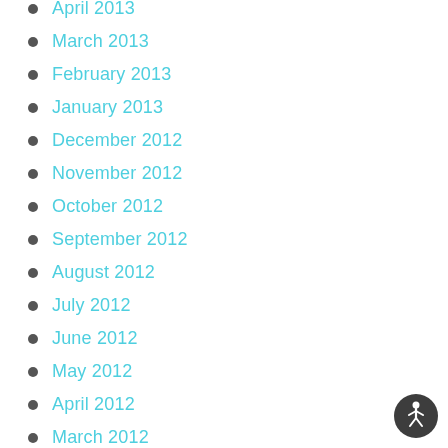April 2013
March 2013
February 2013
January 2013
December 2012
November 2012
October 2012
September 2012
August 2012
July 2012
June 2012
May 2012
April 2012
March 2012
[Figure (illustration): Accessibility icon: dark circular button with white human figure in wheelchair/arms-out pose]